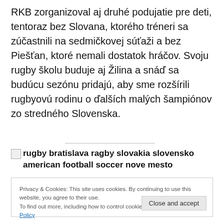RKB zorganizoval aj druhé podujatie pre deti, tentoraz bez Slovana, ktorého tréneri sa zúčastnili na sedmičkovej súťaži a bez Piešťan, ktoré nemali dostatok hráčov. Svoju rugby školu buduje aj Žilina a snáď sa budúcu sezónu pridajú, aby sme rozšírili rugbyovú rodinu o ďalších malých šampiónov zo stredného Slovenska.
[Figure (photo): Broken image placeholder with alt text: rugby bratislava ragby slovakia slovensko american football soccer nove mesto]
Privacy & Cookies: This site uses cookies. By continuing to use this website, you agree to their use.
To find out more, including how to control cookies, see here: Cookie Policy